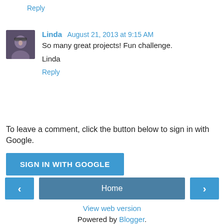Reply
[Figure (photo): User avatar photo of Linda, a woman with dark hair wearing glasses, dark background]
Linda  August 21, 2013 at 9:15 AM
So many great projects! Fun challenge.

Linda
Reply
To leave a comment, click the button below to sign in with Google.
SIGN IN WITH GOOGLE
‹
Home
›
View web version
Powered by Blogger.